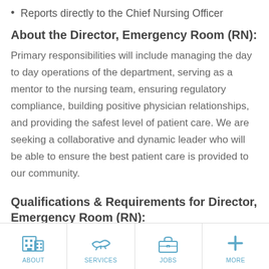Reports directly to the Chief Nursing Officer
About the Director, Emergency Room (RN):
Primary responsibilities will include managing the day to day operations of the department, serving as a mentor to the nursing team, ensuring regulatory compliance, building positive physician relationships, and providing the safest level of patient care. We are seeking a collaborative and dynamic leader who will be able to ensure the best patient care is provided to our community.
Qualifications & Requirements for Director, Emergency Room (RN):
Bachelor of Science in Nursing required
[Figure (infographic): Bottom navigation bar with four icons: ABOUT (building icon), SERVICES (handshake icon), JOBS (briefcase icon), MORE (plus icon)]